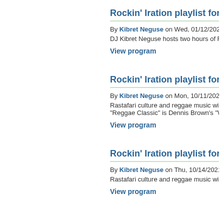Rockin' Iration playlist for ...
By Kibret Neguse on Wed, 01/12/2022 - 5:...
DJ Kibret Neguse hosts two hours of Rasta...
View program
Rockin' Iration playlist for ...
By Kibret Neguse on Mon, 10/11/2021 - 8:...
Rastafari culture and reggae music with DJ... "Reggae Classic" is Dennis Brown's "Want...
View program
Rockin' Iration playlist for 0...
By Kibret Neguse on Thu, 10/14/2021 - 10...
Rastafari culture and reggae music with DJ...
View program